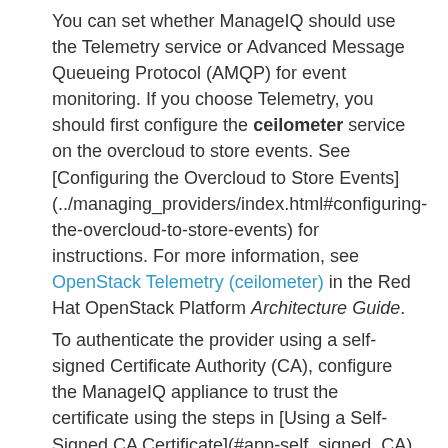You can set whether ManageIQ should use the Telemetry service or Advanced Message Queueing Protocol (AMQP) for event monitoring. If you choose Telemetry, you should first configure the **ceilometer** service on the overcloud to store events. See [Configuring the Overcloud to Store Events](../managing_providers/index.html#configuring-the-overcloud-to-store-events) for instructions. For more information, see OpenStack Telemetry (ceilometer) in the Red Hat OpenStack Platform *Architecture Guide*.
To authenticate the provider using a self-signed Certificate Authority (CA), configure the ManageIQ appliance to trust the certificate using the steps in [Using a Self-Signed CA Certificate](#app-self_signed_CA) before adding the provider.
1. Navigate to menu:Compute[Clouds > Providers].